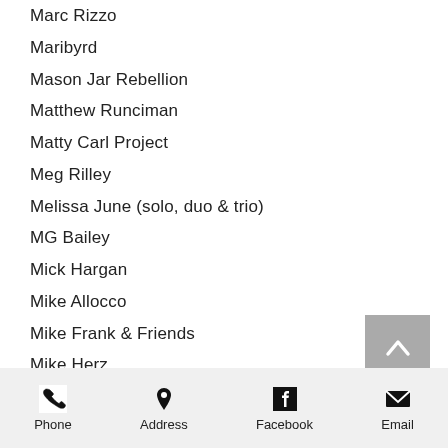Marc Rizzo
Maribyrd
Mason Jar Rebellion
Matthew Runciman
Matty Carl Project
Meg Rilley
Melissa June (solo, duo & trio)
MG Bailey
Mick Hargan
Mike Allocco
Mike Frank & Friends
Mike Herz
Mike McBride & the Family Band
Mike & Ralph
Mike Vidal
Milan the Band
Milkweed
The Milwaukees
Mindstream
Miss Ohio
Mister Revelator
Morgan Lindley
Phone  Address  Facebook  Email